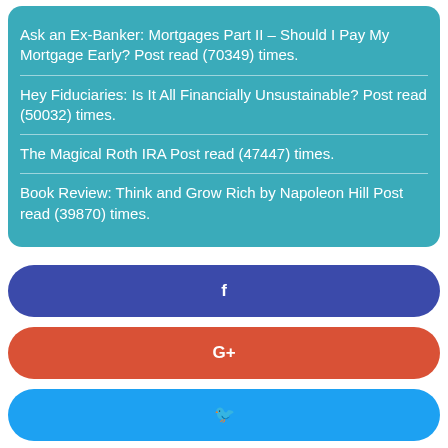Ask an Ex-Banker: Mortgages Part II – Should I Pay My Mortgage Early? Post read (70349) times.
Hey Fiduciaries: Is It All Financially Unsustainable? Post read (50032) times.
The Magical Roth IRA Post read (47447) times.
Book Review: Think and Grow Rich by Napoleon Hill Post read (39870) times.
[Figure (infographic): Social share buttons: Facebook (dark blue/indigo pill button with f icon), Google+ (red pill button with G+ icon), Twitter (blue pill button with bird icon), and a partially visible fourth button at the bottom.]